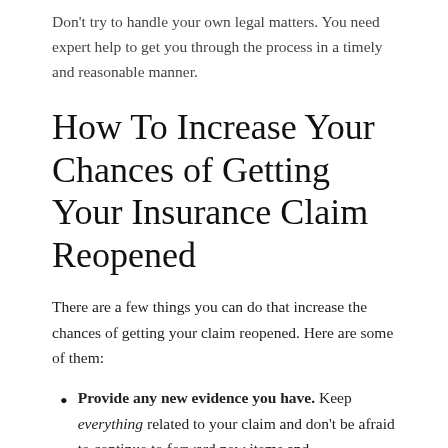Don't try to handle your own legal matters. You need expert help to get you through the process in a timely and reasonable manner.
How To Increase Your Chances of Getting Your Insurance Claim Reopened
There are a few things you can do that increase the chances of getting your claim reopened. Here are some of them:
Provide any new evidence you have. Keep everything related to your claim and don't be afraid to continue to forward new items and documentation while the claim is being adjusted. Be honest, and don't try to argue expenses that didn't exist. You